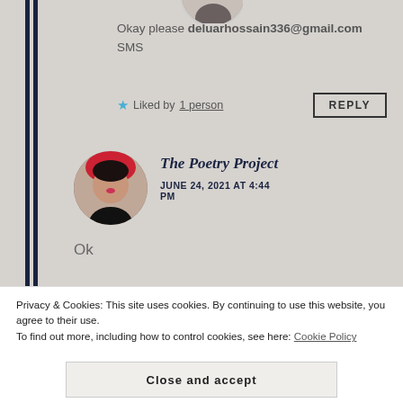Okay please deluarhossain336@gmail.com SMS
Liked by 1 person
REPLY
The Poetry Project
JUNE 24, 2021 AT 4:44 PM
Ok
Privacy & Cookies: This site uses cookies. By continuing to use this website, you agree to their use.
To find out more, including how to control cookies, see here: Cookie Policy
Close and accept